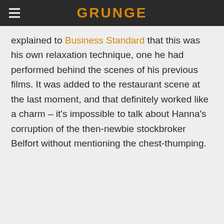GRUNGE
explained to Business Standard that this was his own relaxation technique, one he had performed behind the scenes of his previous films. It was added to the restaurant scene at the last moment, and that definitely worked like a charm – it's impossible to talk about Hanna's corruption of the then-newbie stockbroker Belfort without mentioning the chest-thumping.